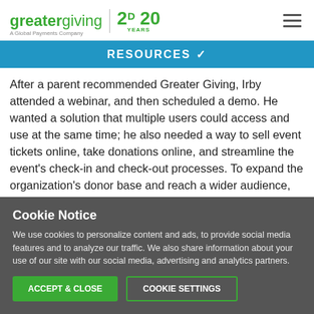greatergiving | 20 YEARS — A Global Payments Company
RESOURCES
After a parent recommended Greater Giving, Irby attended a webinar, and then scheduled a demo. He wanted a solution that multiple users could access and use at the same time; he also needed a way to sell event tickets online, take donations online, and streamline the event's check-in and check-out processes. To expand the organization's donor base and reach a wider audience, Irby wanted an online auction platform, too. In the end, Irby purchased the Greater
Cookie Notice
We use cookies to personalize content and ads, to provide social media features and to analyze our traffic. We also share information about your use of our site with our social media, advertising and analytics partners.